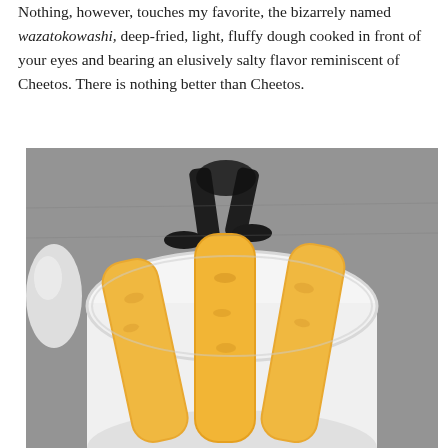Nothing, however, touches my favorite, the bizarrely named wazatokowashi, deep-fried, light, fluffy dough cooked in front of your eyes and bearing an elusively salty flavor reminiscent of Cheetos. There is nothing better than Cheetos.
[Figure (photo): A photo showing golden deep-fried dough sticks (wazatokowashi) in a white cup/bowl, with a blurred background showing a person's legs walking on a gray pavement, and a white plastic bag to the left.]